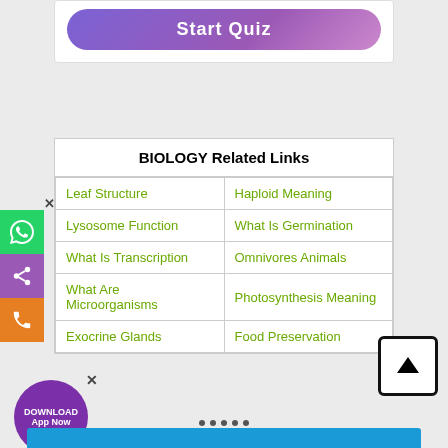[Figure (screenshot): Start Quiz button with purple gradient]
| BIOLOGY Related Links |  |
| --- | --- |
| Leaf Structure | Haploid Meaning |
| Lysosome Function | What Is Germination |
| What Is Transcription | Omnivores Animals |
| What Are Microorganisms | Photosynthesis Meaning |
| Exocrine Glands | Food Preservation |
[Figure (screenshot): Download App Now circular purple button with close X]
[Figure (screenshot): Back to top arrow button, black bordered square]
[Figure (screenshot): Bottom blue banner stub with navigation dots]